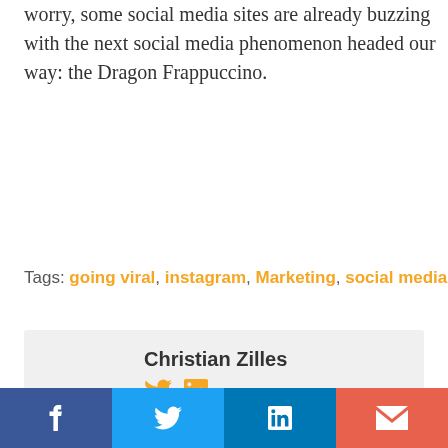worry, some social media sites are already buzzing with the next social media phenomenon headed our way: the Dragon Frappuccino.
Tags: going viral, instagram, Marketing, social media
Christian Zilles
Founder and CEO of Social Media HQ.